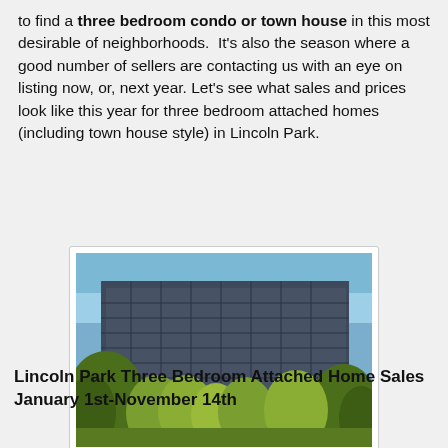to find a three bedroom condo or town house in this most desirable of neighborhoods. It's also the season where a good number of sellers are contacting us with an eye on listing now, or, next year. Let's see what sales and prices look like this year for three bedroom attached homes (including town house style) in Lincoln Park.
[Figure (photo): Photograph of a multi-story brick building in Lincoln Park surrounded by autumn trees with yellow-green foliage against a blue sky]
Photo Eric Rojas, Real Estate Broker
Lincoln Park Three Bedroom Attached Home Sales
January 1st-November 14th